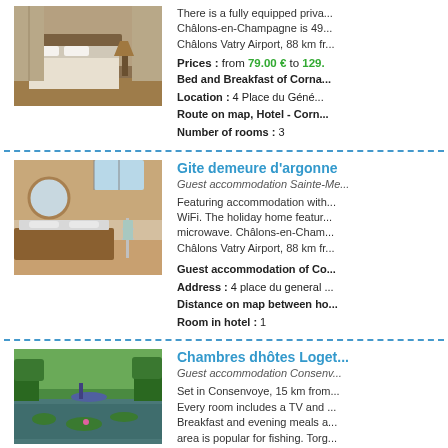[Figure (photo): Hotel bedroom with white bedding, wooden floor, wardrobe and lamp]
There is a fully equipped priva... Châlons-en-Champagne is 49... Châlons Vatry Airport, 88 km fr...
Prices : from 79.00 € to 129...
Bed and Breakfast of Corna...
Location : 4 Place du Géné...
Route on map, Hotel - Corn...
Number of rooms : 3
[Figure (photo): Modern bathroom with wooden vanity, round mirror, and skylight window]
Gite demeure d'argonne
Guest accommodation Sainte-Me...
Featuring accommodation with... WiFi. The holiday home featur... microwave. Châlons-en-Cham... Châlons Vatry Airport, 88 km fr...
Guest accommodation of Co...
Address : 4 place du general ...
Distance on map between ho...
Room in hotel : 1
[Figure (photo): Garden pond with lily pads, lush greenery and a boat in background]
Chambres dhôtes Loget...
Guest accommodation Consenv...
Set in Consenvoye, 15 km from... Every room includes a TV and ... Breakfast and evening meals a... area is popular for fishing. Torg... Lorraine Airport is 78 km away...
Prices : from 49.00 € to 51.0...